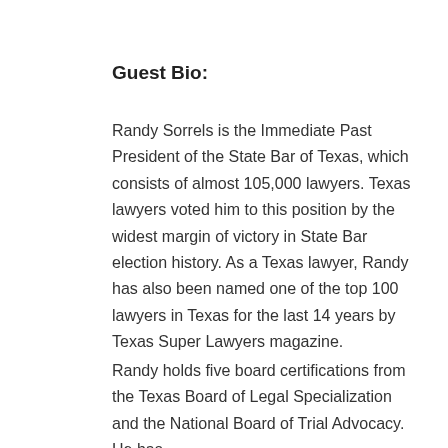Guest Bio:
Randy Sorrels is the Immediate Past President of the State Bar of Texas, which consists of almost 105,000 lawyers. Texas lawyers voted him to this position by the widest margin of victory in State Bar election history. As a Texas lawyer, Randy has also been named one of the top 100 lawyers in Texas for the last 14 years by Texas Super Lawyers magazine.
Randy holds five board certifications from the Texas Board of Legal Specialization and the National Board of Trial Advocacy. He has